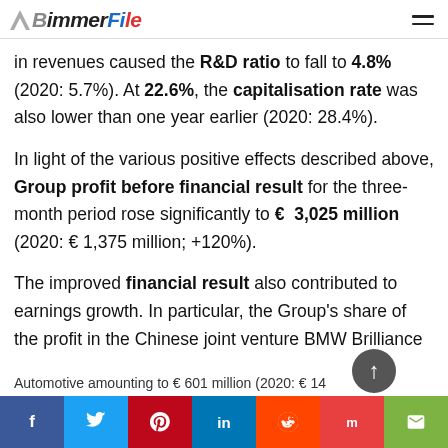BimmerFile
in revenues caused the R&D ratio to fall to 4.8% (2020: 5.7%). At 22.6%, the capitalisation rate was also lower than one year earlier (2020: 28.4%).
In light of the various positive effects described above, Group profit before financial result for the three-month period rose significantly to € 3,025 million (2020: € 1,375 million; +120%).
The improved financial result also contributed to earnings growth. In particular, the Group's share of the profit in the Chinese joint venture BMW Brilliance Automotive amounting to € 601 million (2020: € 14 million),  as well as our...